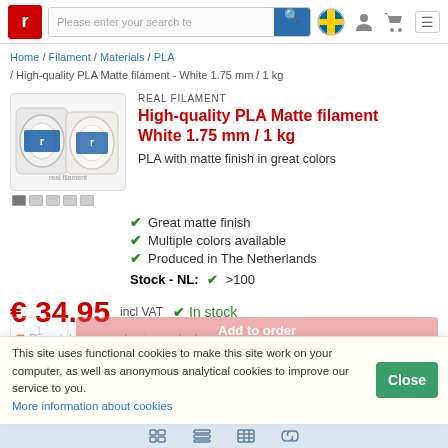Please enter your search te [search bar] [Swedish flag] [user icon] [cart icon] [menu]
Home / Filament / Materials / PLA / High-quality PLA Matte filament - White 1.75 mm / 1 kg
REAL FILAMENT
High-quality PLA Matte filament White 1.75 mm / 1 kg
PLA with matte finish in great colors
Great matte finish
Multiple colors available
Produced in The Netherlands
Stock - NL: ✓ >100
€ 34.95 incl VAT ✓ In stock
Dispatches same business day!
This site uses functional cookies to make this site work on your computer, as well as anonymous analytical cookies to improve our service to you. More information about cookies
[toolbar icons]